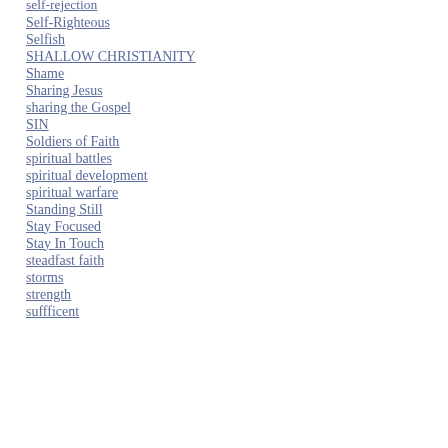self-rejection
Self-Righteous
Selfish
SHALLOW CHRISTIANITY
Shame
Sharing Jesus
sharing the Gospel
SIN
Soldiers of Faith
spiritual battles
spiritual development
spiritual warfare
Standing Still
Stay Focused
Stay In Touch
steadfast faith
storms
strength
suffficent